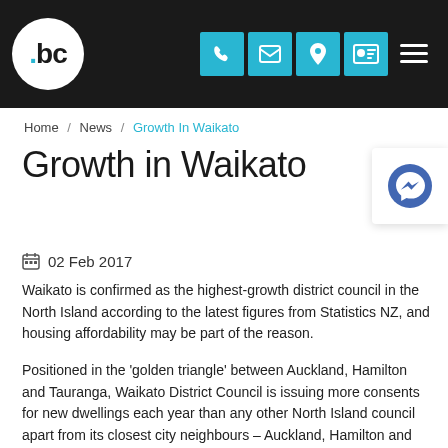bc — navigation header with phone, email, location, ID, and menu icons
Home / News / Growth In Waikato
Growth in Waikato
02 Feb 2017
Waikato is confirmed as the highest-growth district council in the North Island according to the latest figures from Statistics NZ, and housing affordability may be part of the reason.
Positioned in the 'golden triangle' between Auckland, Hamilton and Tauranga, Waikato District Council is issuing more consents for new dwellings each year than any other North Island council apart from its closest city neighbours – Auckland, Hamilton and Tauranga.